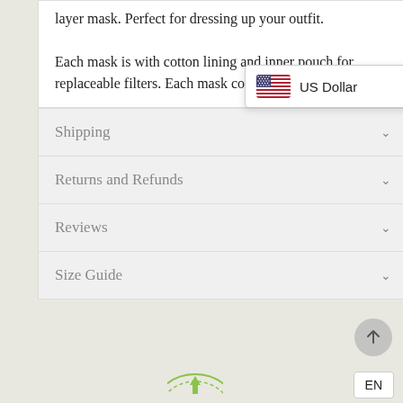layer mask. Perfect for dressing up your outfit.

Each mask is with cotton lining and inner pouch for replaceable filters. Each mask comes w… 5 layer filters.
Shipping
Returns and Refunds
Reviews
Size Guide
[Figure (screenshot): Currency selector popup showing US flag and 'US Dollar' label with right arrow]
[Figure (other): Back to top circular button with upward arrow]
EN